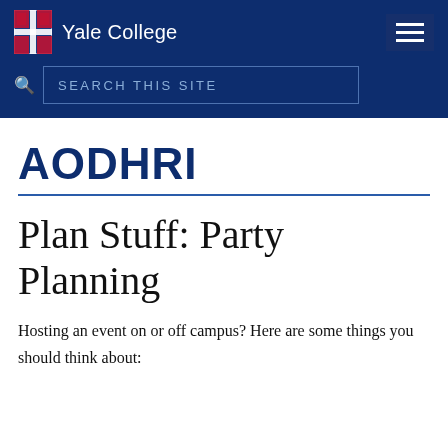Yale College
AODHRI
Plan Stuff: Party Planning
Hosting an event on or off campus?  Here are some things you should think about: